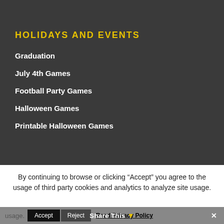HOLIDAYS AND EVENTS
Graduation
July 4th Games
Football Party Games
Halloween Games
Printable Halloween Games
By continuing to browse or clicking “Accept” you agree to the usage of third party cookies and analytics to analyze site usage.
Accept   Reject   Read Privacy Policy   Share This   ×